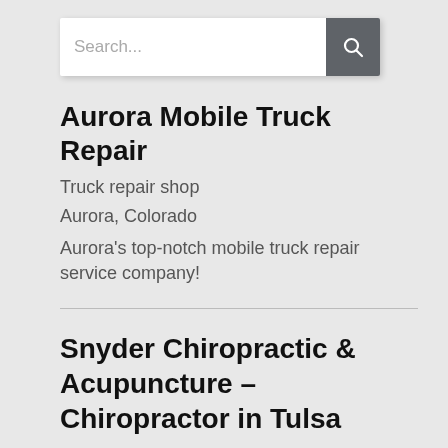[Figure (screenshot): Search bar with placeholder text 'Search...' and a dark grey search button with magnifying glass icon]
Aurora Mobile Truck Repair
Truck repair shop
Aurora, Colorado
Aurora's top-notch mobile truck repair service company!
Snyder Chiropractic & Acupuncture – Chiropractor in Tulsa
Chiropractor
Tulsa, Oklahoma